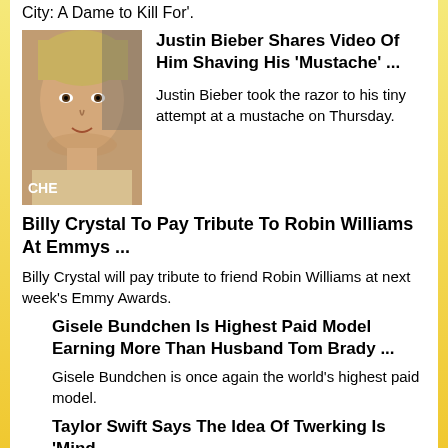City: A Dame to Kill For'.
[Figure (photo): Photo of Justin Bieber with CHE text overlay]
Justin Bieber Shares Video Of Him Shaving His 'Mustache' ...
Justin Bieber took the razor to his tiny attempt at a mustache on Thursday.
Billy Crystal To Pay Tribute To Robin Williams At Emmys ...
Billy Crystal will pay tribute to friend Robin Williams at next week's Emmy Awards.
Gisele Bundchen Is Highest Paid Model Earning More Than Husband Tom Brady ...
Gisele Bundchen is once again the world's highest paid model.
Taylor Swift Says The Idea Of Twerking Is 'Mind-